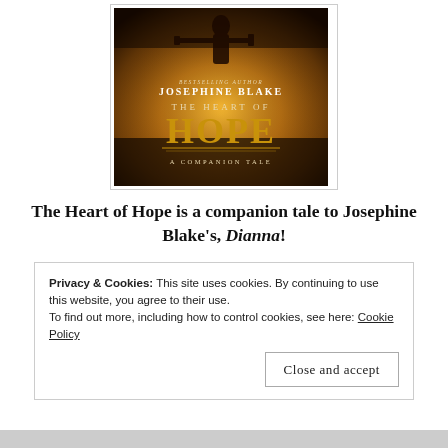[Figure (illustration): Book cover for 'The Heart of Hope: A Companion Tale' by Josephine Blake (Bestselling Author). Dark golden/sunset background with silhouette of a person holding a weapon. Title in large gold letters.]
The Heart of Hope is a companion tale to Josephine Blake’s, Dianna!
Privacy & Cookies: This site uses cookies. By continuing to use this website, you agree to their use.
To find out more, including how to control cookies, see here: Cookie Policy
Close and accept